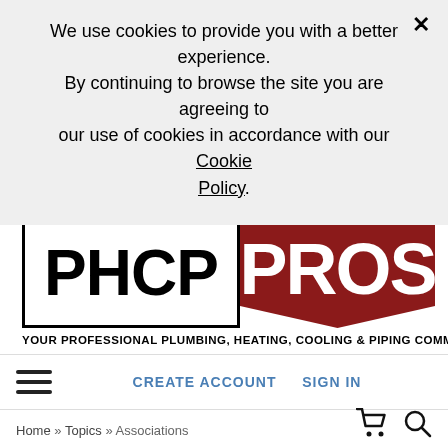We use cookies to provide you with a better experience. By continuing to browse the site you are agreeing to our use of cookies in accordance with our Cookie Policy.
[Figure (logo): PHCP PROS logo — left half has black border with black text 'PHCP', right half is dark red speech-bubble shape with white text 'PROS'. Tagline below: YOUR PROFESSIONAL PLUMBING, HEATING, COOLING & PIPING COMMUNITY]
CREATE ACCOUNT   SIGN IN
Home » Topics » Associations